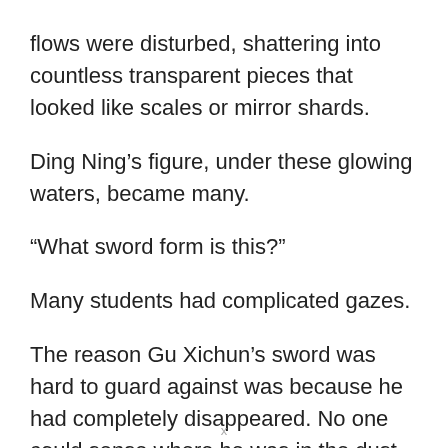flows were disturbed, shattering into countless transparent pieces that looked like scales or mirror shards.
Ding Ning’s figure, under these glowing waters, became many.
“What sword form is this?”
Many students had complicated gazes.
The reason Gu Xichun’s sword was hard to guard against was because he had completely disappeared. No one could sense where he was in the dust. Now, there were many figures of Ding
x